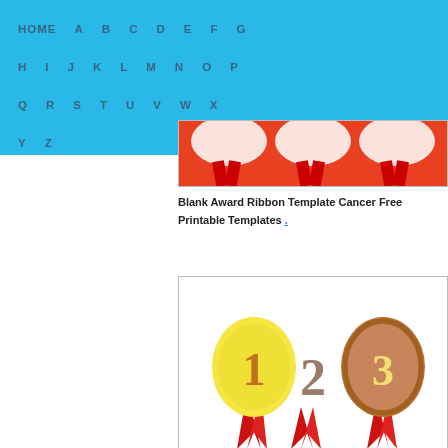HOME A B C D E F G H I J K L M N O P Q R S T U V W X Y Z
[Figure (photo): Partial view of blank award ribbon template with red background and decorative ribbons]
Blank Award Ribbon Template Cancer Free Printable Templates .
[Figure (illustration): Three award medals numbered 1, 2, 3 with red ribbons - gold medal with '1', silver/gray '2' floating, bronze medal with '3']